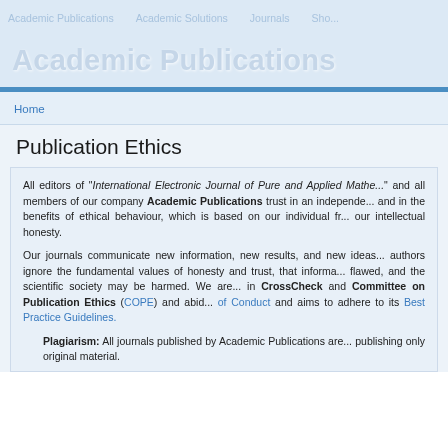Academic Publications   Academic Solutions   Journals   Sho...
Academic Publications
Home
Publication Ethics
All editors of "International Electronic Journal of Pure and Applied Mathematics" and all members of our company Academic Publications trust in an independent editorial process and in the benefits of ethical behaviour, which is based on our individual freedom of thought and our intellectual honesty.
Our journals communicate new information, new results, and new ideas. If editors or authors ignore the fundamental values of honesty and trust, that information may become flawed, and the scientific society may be harmed. We are members/participants in CrossCheck and Committee on Publication Ethics (COPE) and abide by its Code of Conduct and aims to adhere to its Best Practice Guidelines.
Plagiarism: All journals published by Academic Publications are committed to publishing only original material.